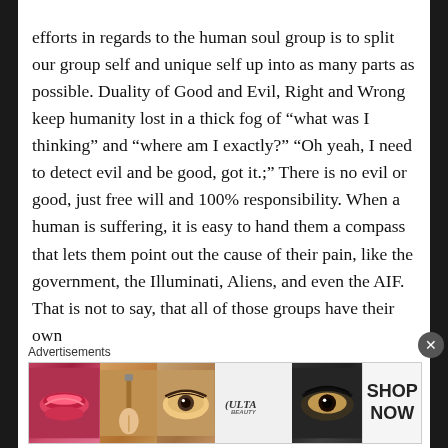efforts in regards to the human soul group is to split our group self and unique self up into as many parts as possible. Duality of Good and Evil, Right and Wrong keep humanity lost in a thick fog of “what was I thinking” and “where am I exactly?” “Oh yeah, I need to detect evil and be good, got it.;” There is no evil or good, just free will and 100% responsibility. When a human is suffering, it is easy to hand them a compass that lets them point out the cause of their pain, like the government, the Illuminati, Aliens, and even the AIF. That is not to say, that all of those groups have their own
Advertisements
[Figure (photo): Advertisement banner showing cosmetics/beauty products - lips with red lipstick, makeup brush, eye with makeup, ULTA beauty logo, eye with dramatic makeup, and SHOP NOW call to action]